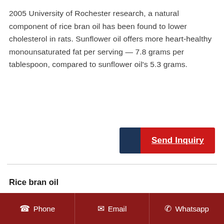2005 University of Rochester research, a natural component of rice bran oil has been found to lower cholesterol in rats. Sunflower oil offers more heart-healthy monounsaturated fat per serving — 7.8 grams per tablespoon, compared to sunflower oil's 5.3 grams.
[Figure (other): Send Inquiry button with dark blue left accent and red background]
Rice bran oil
RICE BRAN OIL. 100% Pure / Natural / Refined / Undiluted Cold Pressed Carr
Phone   Email   Whatsapp